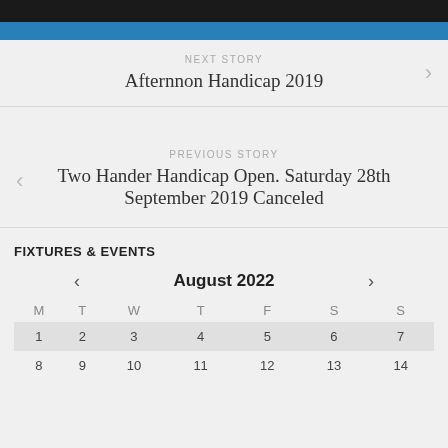NEXT STORY
Afternnon Handicap 2019
PREVIOUS STORY
Two Hander Handicap Open. Saturday 28th September 2019 Canceled
FIXTURES & EVENTS
August 2022
| M | T | W | T | F | S | S |
| --- | --- | --- | --- | --- | --- | --- |
| 1 | 2 | 3 | 4 | 5 | 6 | 7 |
| 8 | 9 | 10 | 11 | 12 | 13 | 14 |